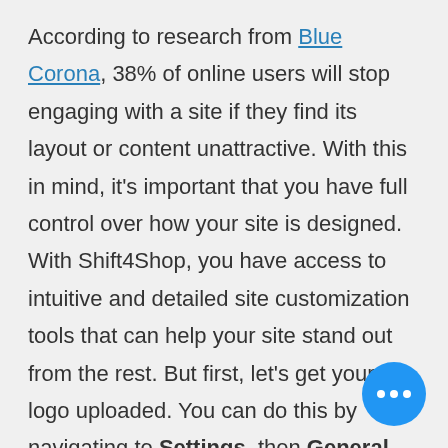According to research from Blue Corona, 38% of online users will stop engaging with a site if they find its layout or content unattractive. With this in mind, it's important that you have full control over how your site is designed. With Shift4Shop, you have access to intuitive and detailed site customization tools that can help your site stand out from the rest. But first, let's get your logo uploaded. You can do this by navigating to Settings, then General, and finally Store Settings in your Online Store...